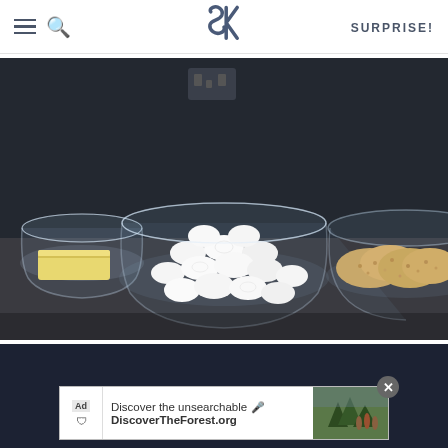SK logo with hamburger menu, search icon, and SURPRISE! navigation
[Figure (photo): Three glass bowls on a dark countertop: left bowl contains a stick of butter, center bowl contains white marshmallows, right bowl contains brown rice cereal]
[Figure (photo): Partial second photo on dark background with an advertisement overlay reading 'Discover the unsearchable / DiscoverTheForest.org']